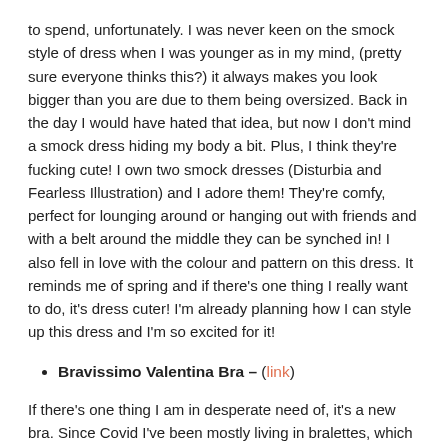to spend, unfortunately. I was never keen on the smock style of dress when I was younger as in my mind, (pretty sure everyone thinks this?) it always makes you look bigger than you are due to them being oversized. Back in the day I would have hated that idea, but now I don't mind a smock dress hiding my body a bit. Plus, I think they're fucking cute! I own two smock dresses (Disturbia and Fearless Illustration) and I adore them! They're comfy, perfect for lounging around or hanging out with friends and with a belt around the middle they can be synched in! I also fell in love with the colour and pattern on this dress. It reminds me of spring and if there's one thing I really want to do, it's dress cuter! I'm already planning how I can style up this dress and I'm so excited for it!
Bravissimo Valentina Bra – (link)
If there's one thing I am in desperate need of, it's a new bra. Since Covid I've been mostly living in bralettes, which are super comfy and support a little, but the time has come where I need to wear a normal bra at least three days of the week and currently, I only have one... Well two if you take note that I have the same bra twice, because I fell in love and